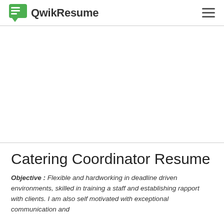QwikResume
Catering Coordinator Resume
Objective : Flexible and hardworking in deadline driven environments, skilled in training a staff and establishing rapport with clients. I am also self motivated with exceptional communication and